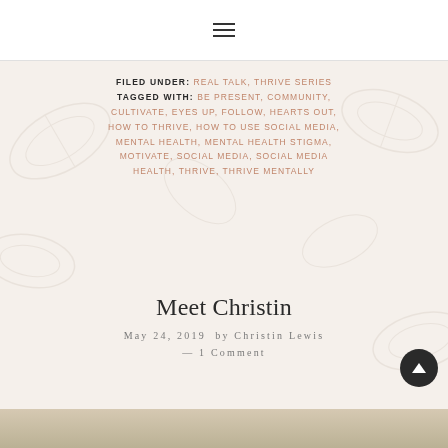≡
FILED UNDER: REAL TALK, THRIVE SERIES TAGGED WITH: BE PRESENT, COMMUNITY, CULTIVATE, EYES UP, FOLLOW, HEARTS OUT, HOW TO THRIVE, HOW TO USE SOCIAL MEDIA, MENTAL HEALTH, MENTAL HEALTH STIGMA, MOTIVATE, SOCIAL MEDIA, SOCIAL MEDIA HEALTH, THRIVE, THRIVE MENTALLY
Meet Christin
May 24, 2019 by Christin Lewis — 1 Comment